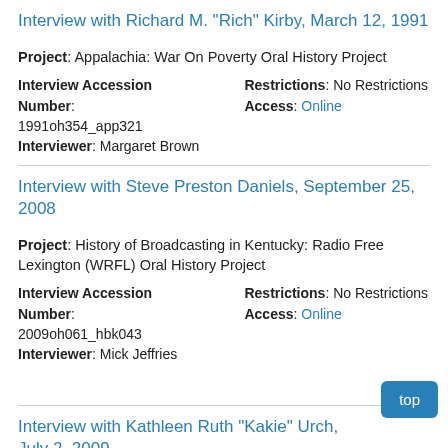Interview with Richard M. "Rich" Kirby, March 12, 1991
Project: Appalachia: War On Poverty Oral History Project
Interview Accession Number: 1991oh354_app321  Interviewer: Margaret Brown  Restrictions: No Restrictions  Access: Online
Interview with Steve Preston Daniels, September 25, 2008
Project: History of Broadcasting in Kentucky: Radio Free Lexington (WRFL) Oral History Project
Interview Accession Number: 2009oh061_hbk043  Interviewer: Mick Jeffries  Restrictions: No Restrictions  Access: Online
Interview with Kathleen Ruth "Kakie" Urch, July 2, 2009